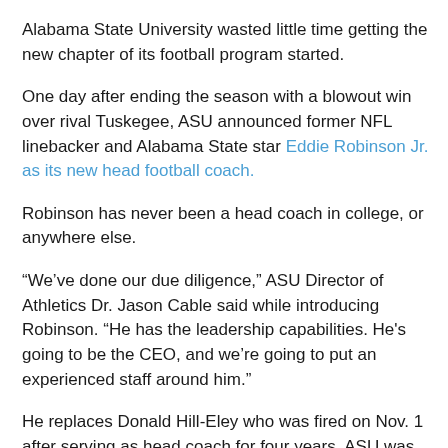Alabama State University wasted little time getting the new chapter of its football program started.
One day after ending the season with a blowout win over rival Tuskegee, ASU announced former NFL linebacker and Alabama State star Eddie Robinson Jr. as its new head football coach.
Robinson has never been a head coach in college, or anywhere else.
“We’ve done our due diligence,” ASU Director of Athletics Dr. Jason Cable said while introducing Robinson. “He has the leadership capabilities. He's going to be the CEO, and we’re going to put an experienced staff around him.”
He replaces Donald Hill-Eley who was fired on Nov. 1 after serving as head coach for four years. ASU was 20-21 under Hill-Eley, who took over as interim head coach after Brian Jenkins was fired by Alabama State during the 2017 season.